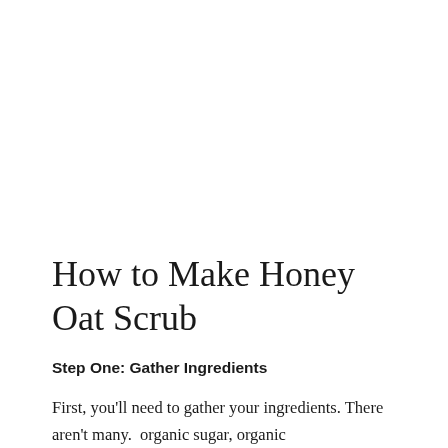How to Make Honey Oat Scrub
Step One: Gather Ingredients
First, you'll need to gather your ingredients. There aren't many.  organic sugar, organic